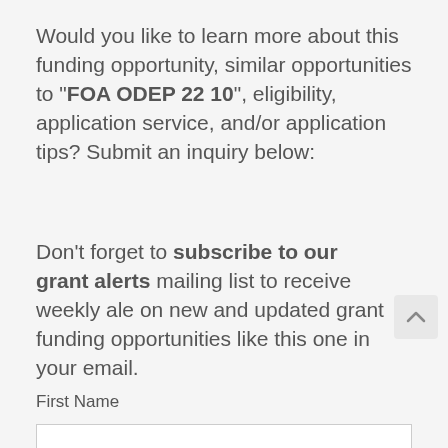Would you like to learn more about this funding opportunity, similar opportunities to "FOA ODEP 22 10", eligibility, application service, and/or application tips? Submit an inquiry below:
Don't forget to subscribe to our grant alerts mailing list to receive weekly alerts on new and updated grant funding opportunities like this one in your email.
First Name